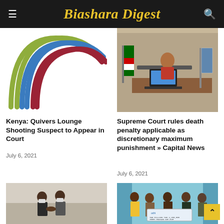Biashara Digest
[Figure (logo): Colorful interlocking arc logo with green, blue, and red/maroon arcs]
[Figure (photo): A woman in a red jacket sitting at a desk with a laptop, Kenyan flag in background]
Kenya: Quivers Lounge Shooting Suspect to Appear in Court
July 6, 2021
Supreme Court rules death penalty applicable as discretionary maximum punishment » Capital News
July 6, 2021
[Figure (photo): Two men in suits and masks shaking hands at an airport]
[Figure (photo): Group of people holding an Ochi/bank cheque for two million three hundred thousand shillings]